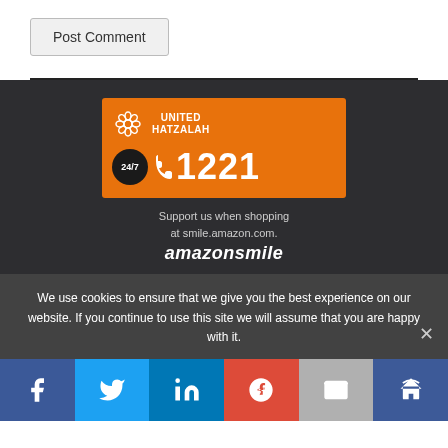Post Comment
[Figure (logo): United Hatzalah orange banner with 24/7 phone number 1221]
Support us when shopping at smile.amazon.com.
amazonsmile
We use cookies to ensure that we give you the best experience on our website. If you continue to use this site we will assume that you are happy with it.
[Figure (infographic): Social media share bar with Facebook, Twitter, LinkedIn, Google+, Email, and Crown icons]